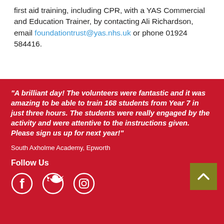first aid training, including CPR, with a YAS Commercial and Education Trainer, by contacting Ali Richardson, email foundationtrust@yas.nhs.uk or phone 01924 584416.
"A brilliant day! The volunteers were fantastic and it was amazing to be able to train 168 students from Year 7 in just three hours. The students were really engaged by the activity and were attentive to the instructions given. Please sign us up for next year!"
South Axholme Academy, Epworth
Follow Us